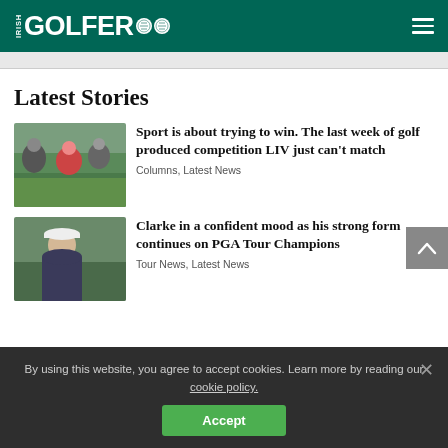IRISH GOLFER
Latest Stories
[Figure (photo): Golfers on a course with crowd in background]
Sport is about trying to win. The last week of golf produced competition LIV just can’t match
Columns, Latest News
[Figure (photo): Portrait of Darren Clarke wearing a cap and jacket]
Clarke in a confident mood as his strong form continues on PGA Tour Champions
Tour News, Latest News
By using this website, you agree to accept cookies. Learn more by reading our cookie policy.
Accept